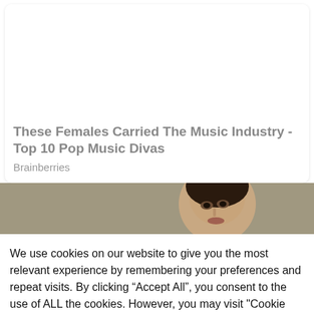These Females Carried The Music Industry - Top 10 Pop Music Divas
Brainberries
[Figure (photo): Partial image of a woman's face against a grey/olive background, cropped at top of page]
We use cookies on our website to give you the most relevant experience by remembering your preferences and repeat visits. By clicking “Accept All”, you consent to the use of ALL the cookies. However, you may visit "Cookie Settings" to provide a controlled consent.